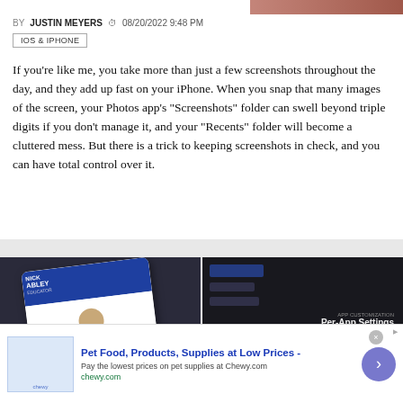[Figure (photo): Partial image of a hand/phone at the top right corner]
BY JUSTIN MEYERS  08/20/2022 9:48 PM
IOS & IPHONE
If you're like me, you take more than just a few screenshots throughout the day, and they add up fast on your iPhone. When you snap that many images of the screen, your Photos app's "Screenshots" folder can swell beyond triple digits if you don't manage it, and your "Recents" folder will become a cluttered mess. But there is a trick to keeping screenshots in check, and you can have total control over it.
[Figure (photo): Phone on dark fabric showing a social media profile screen]
[Figure (photo): Close-up of phone screen showing Per-App Settings menu]
HOW TO
The Trick to Disabling Link Previews for URLs in Your
HOW TO
Always Use Dark Mode or Light Mode for Any App on
Pet Food, Products, Supplies at Low Prices -
Pay the lowest prices on pet supplies at Chewy.com
chewy.com